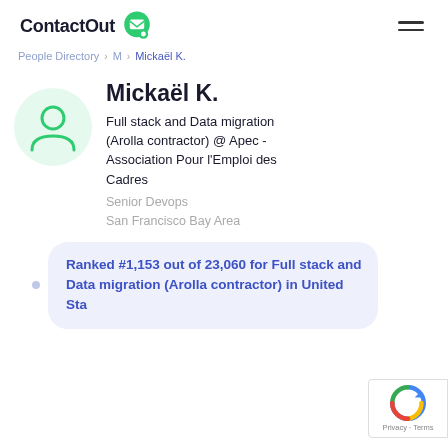ContactOut
People Directory / M / Mickaël K.
Mickaël K.
Full stack and Data migration (Arolla contractor) @ Apec - Association Pour l'Emploi des Cadres
Senior Devops
San Francisco Bay Area
Ranked #1,153 out of 23,060 for Full stack and Data migration (Arolla contractor) in United Sta